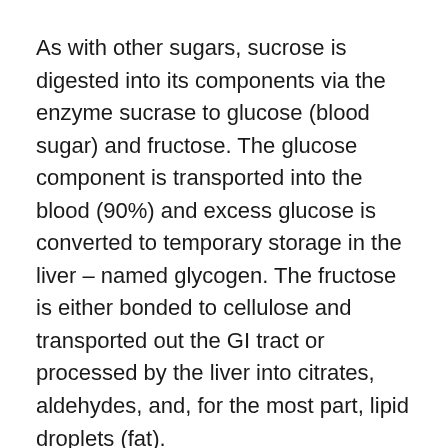As with other sugars, sucrose is digested into its components via the enzyme sucrase to glucose (blood sugar) and fructose. The glucose component is transported into the blood (90%) and excess glucose is converted to temporary storage in the liver – named glycogen. The fructose is either bonded to cellulose and transported out the GI tract or processed by the liver into citrates, aldehydes, and, for the most part, lipid droplets (fat).
As the glycemic index measures the speed at which glucose is released into the bloodstream a refined sugar containing glucose is considered high-glycemic. As with other sugars, over-